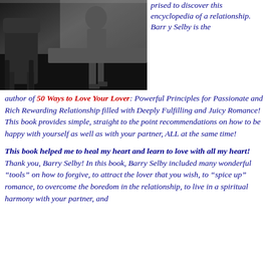[Figure (photo): Black and white photo of a woman in heels seated near an ornate chair]
prised to discover this encyclopedia of a relationship. Barry Selby is the author of 50 Ways to Love Your Lover: Powerful Principles for Passionate and Rich Rewarding Relationship filled with Deeply Fulfilling and Juicy Romance! This book provides simple, straight to the point recommendations on how to be happy with yourself as well as with your partner, ALL at the same time!
This book helped me to heal my heart and learn to love with all my heart! Thank you, Barry Selby! In this book, Barry Selby included many wonderful “tools” on how to forgive, to attract the lover that you wish, to “spice up” romance, to overcome the boredom in the relationship, to live in a spiritual harmony with your partner, and